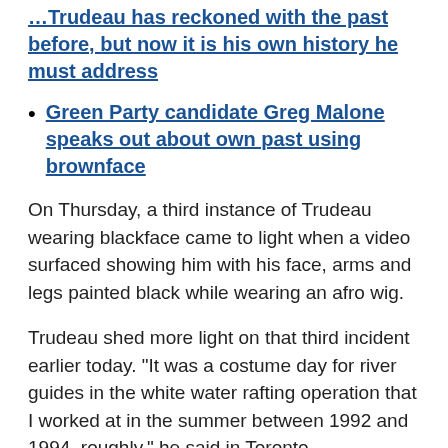Trudeau has reckoned with the past before, but now it is his own history he must address
Green Party candidate Greg Malone speaks out about own past using brownface
On Thursday, a third instance of Trudeau wearing blackface came to light when a video surfaced showing him with his face, arms and legs painted black while wearing an afro wig.
Trudeau shed more light on that third incident earlier today. "It was a costume day for river guides in the white water rafting operation that I worked at in the summer between 1992 and 1994, roughly," he said in Toronto.
Apologizing to Singh personally